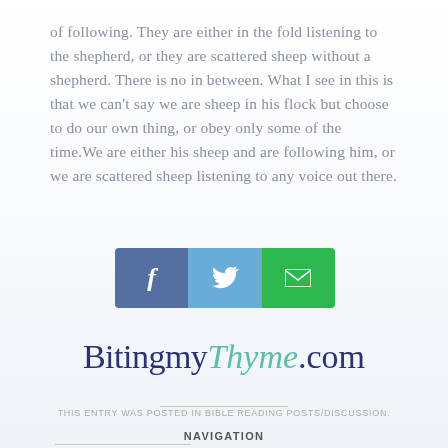of following. They are either in the fold listening to the shepherd, or they are scattered sheep without a shepherd. There is no in between. What I see in this is that we can't say we are sheep in his flock but choose to do our own thing, or obey only some of the time.We are either his sheep and are following him, or we are scattered sheep listening to any voice out there.
[Figure (infographic): Three social sharing buttons side by side: Facebook (dark blue with 'f'), Twitter (light blue with bird icon), Email (green with envelope icon)]
[Figure (logo): BitingmyThyme.com logo — 'Bitingmy' in dark navy serif, 'Thyme' in teal cursive/script, '.com' in dark navy serif]
THIS ENTRY WAS POSTED IN BIBLE READING POSTS/DISCUSSION.
NAVIGATION